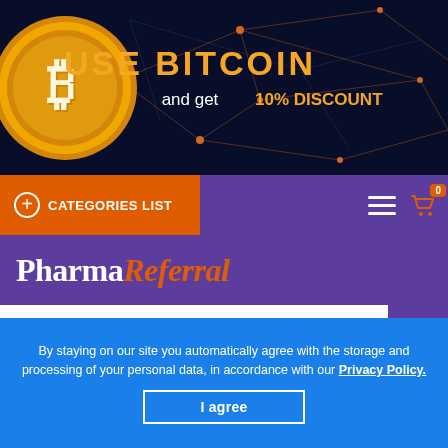[Figure (infographic): Bitcoin advertisement banner with gold Bitcoin coin on dark navy background with network lines. Text: 'USE BITCOIN and get 10% DISCOUNT']
CATEGORIES LIST
[Figure (logo): PharmaReferral logo on purple background — 'Pharma' in white bold serif, 'Referral' in orange italic]
Home → Arthritis, Surgery → Imuran
GENERIC IMURAN
By staying on our site you automatically agree with the storage and processing of your personal data, in accordance with our Privacy Policy.
I agree